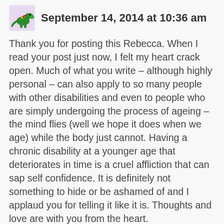September 14, 2014 at 10:36 am
Thank you for posting this Rebecca. When I read your post just now, I felt my heart crack open. Much of what you write – although highly personal – can also apply to so many people with other disabilities and even to people who are simply undergoing the process of ageing – the mind flies (well we hope it does when we age) while the body just cannot. Having a chronic disability at a younger age that deteriorates in time is a cruel affliction that can sap self confidence. It is definitely not something to hide or be ashamed of and I applaud you for telling it like it is. Thoughts and love are with you from the heart.